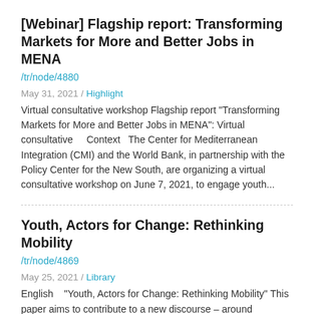[Webinar] Flagship report: Transforming Markets for More and Better Jobs in MENA
/tr/node/4880
May 31, 2021 / Highlight
Virtual consultative workshop Flagship report “Transforming Markets for More and Better Jobs in MENA”: Virtual consultative    Context   The Center for Mediterranean Integration (CMI) and the World Bank, in partnership with the Policy Center for the New South, are organizing a virtual consultative workshop on June 7, 2021, to engage youth...
Youth, Actors for Change: Rethinking Mobility
/tr/node/4869
May 25, 2021 / Library
English    “Youth, Actors for Change: Rethinking Mobility” This paper aims to contribute to a new discourse – around education, employability, and mobility, to enable the youth to become drivers for change in the